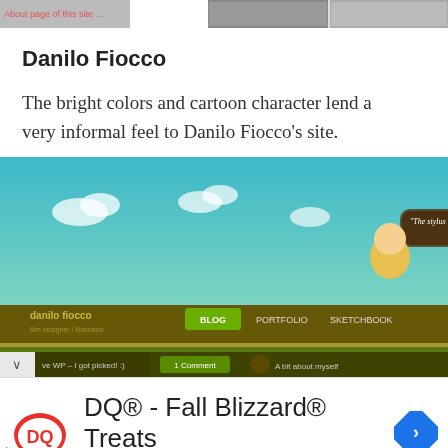[Figure (screenshot): Top strip showing partial web page screenshots at the top of the document page]
Danilo Fiocco
The bright colors and cartoon character lend a very informal feel to Danilo Fiocco’s site.
[Figure (screenshot): Screenshot of Danilo Fiocco’s website showing a cartoon character holding a stylus, a teal sky background with clouds, navigation bar with BLOG, PORTFOLIO, SKETCHBOOK links, and a speech bubble reading ‘The stylus is mightier than the sword.’]
[Figure (screenshot): Advertisement for DQ® - Fall Blizzard® Treats by Dairy Queen (Treat) with DQ logo and navigation arrow icon]